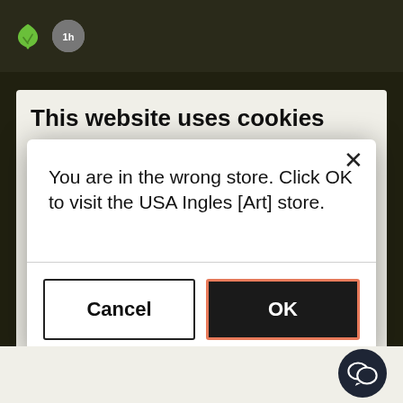[Figure (screenshot): Website header with dark background showing a green leaf logo and a circular icon]
[Figure (screenshot): Background cookie consent modal partially visible, showing 'This website uses cookies' title and a Marketing row with green checkmark and details button]
[Figure (screenshot): Foreground modal dialog with X close button, message 'You are in the wrong store. Click OK to visit the USA Ingles [Art] store.', a horizontal divider, and two buttons: Cancel and OK]
5. Third party cookies.
This website uses third-party services to collect infor... for statistical purposes and web usage. Specifically, we... the Google AdSense and Google Analytics services for our statistics and advertising. Some cookies are essential for
[Figure (other): Dark circular chat/support button in bottom right corner with speech bubble icon]